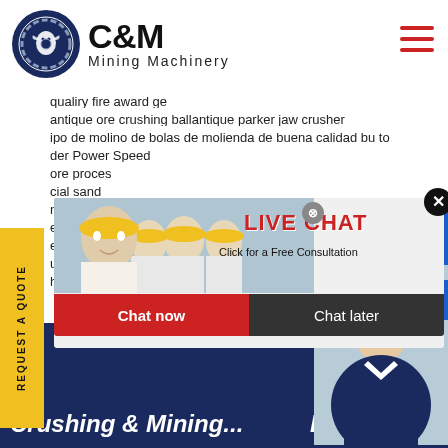[Figure (logo): C&M Mining Machinery logo with eagle in gear circle and hamburger menu]
qualiry fire award ge
antique ore crushing ballantique parker jaw crusher
ipo de molino de bolas de molienda de buena calidad bu to
der Power Speed
ore proces
cial sand
ngkar lay
en x dou b
e crusher
unt of cli n
hed stone suppliers india
[Figure (infographic): Live Chat popup with workers in hard hats, LIVE CHAT heading, Click for a Free Consultation text, Chat now and Chat later buttons]
[Figure (infographic): Hours online blue box top right]
[Figure (photo): Female customer service agent with headset, Click to Chat button overlay]
REQUEST A QUOTE
Enquiry